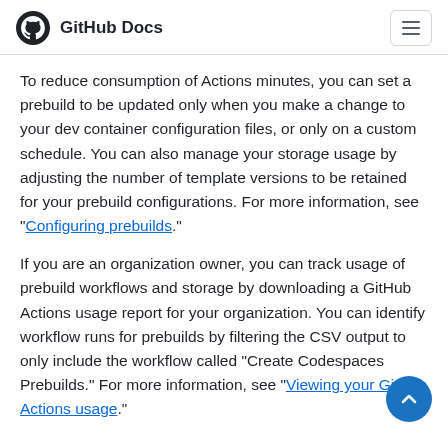GitHub Docs
To reduce consumption of Actions minutes, you can set a prebuild to be updated only when you make a change to your dev container configuration files, or only on a custom schedule. You can also manage your storage usage by adjusting the number of template versions to be retained for your prebuild configurations. For more information, see "Configuring prebuilds."
If you are an organization owner, you can track usage of prebuild workflows and storage by downloading a GitHub Actions usage report for your organization. You can identify workflow runs for prebuilds by filtering the CSV output to only include the workflow called "Create Codespaces Prebuilds." For more information, see "Viewing your GitHub Actions usage."